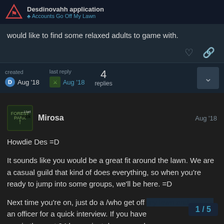Desdinovahh application | Accounts Go Off My Lawn
would like to find some relaxed adults to game with.
created Aug '18   last reply Aug '18   4 replies
Mirosa   Aug '18
Howdie Des =D
It sounds like you would be a great fit around the lawn. We are a casual guild that kind of does everything, so when you're ready to jump into some groups, we'll be here. =D
Next time you're on, just do a /who get off my lawn and ask for an officer for a quick interview. If you have one in the next 24 hours, just drop a good
1 / 5